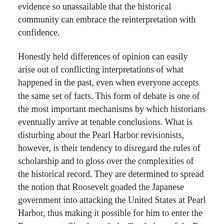evidence so unassailable that the historical community can embrace the reinterpretation with confidence.
Honestly held differences of opinion can easily arise out of conflicting interpretations of what happened in the past, even when everyone accepts the same set of facts. This form of debate is one of the most important mechanisms by which historians eventually arrive at tenable conclusions. What is disturbing about the Pearl Harbor revisionists, however, is their tendency to disregard the rules of scholarship and to gloss over the complexities of the historical record. They are determined to spread the notion that Roosevelt goaded the Japanese government into attacking the United States at Pearl Harbor, thus making it possible for him to enter the European conflict through the "back door of the Far East." They therefore attribute Tokyo's decision for war to the allegedly arbitrary policies sanctioned by the President, especially the freezing of Japan's assets in July 1941 and the proposal for a settlement that Secretary of State Cordell Hull presented to the Japanese government in November.